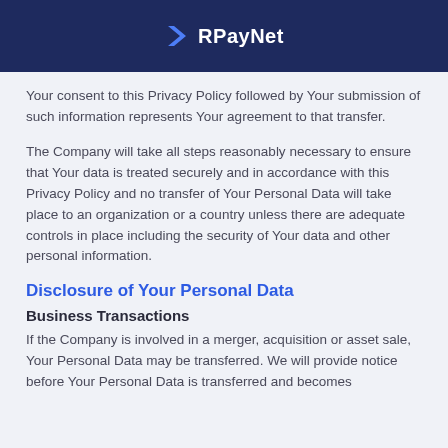RPayNet
Your consent to this Privacy Policy followed by Your submission of such information represents Your agreement to that transfer.
The Company will take all steps reasonably necessary to ensure that Your data is treated securely and in accordance with this Privacy Policy and no transfer of Your Personal Data will take place to an organization or a country unless there are adequate controls in place including the security of Your data and other personal information.
Disclosure of Your Personal Data
Business Transactions
If the Company is involved in a merger, acquisition or asset sale, Your Personal Data may be transferred. We will provide notice before Your Personal Data is transferred and becomes